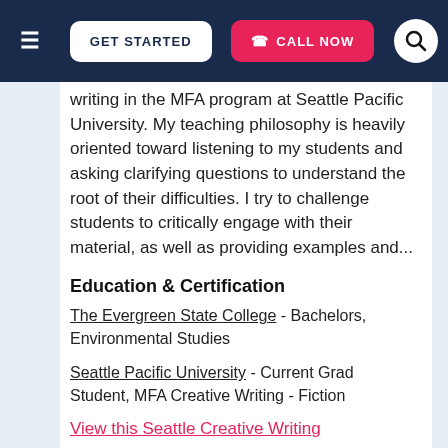GET STARTED | CALL NOW
writing in the MFA program at Seattle Pacific University. My teaching philosophy is heavily oriented toward listening to my students and asking clarifying questions to understand the root of their difficulties. I try to challenge students to critically engage with their material, as well as providing examples and...
Education & Certification
The Evergreen State College - Bachelors, Environmental Studies
Seattle Pacific University - Current Grad Student, MFA Creative Writing - Fiction
View this Seattle Creative Writing